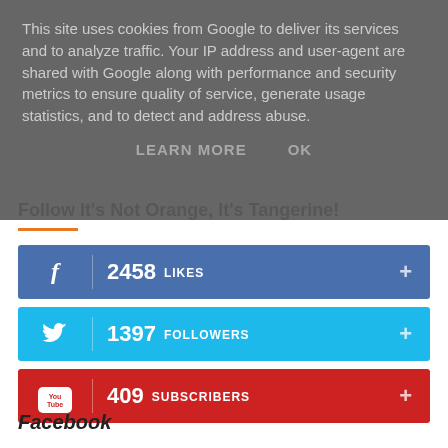This site uses cookies from Google to deliver its services and to analyze traffic. Your IP address and user-agent are shared with Google along with performance and security metrics to ensure quality of service, generate usage statistics, and to detect and address abuse.
LEARN MORE   OK
Follow It's Not Orange, It's Tangerine!
[Figure (infographic): Social media follow widget with three bars: Facebook (2458 Likes), Twitter (1397 Followers), YouTube (409 Subscribers)]
Facebook